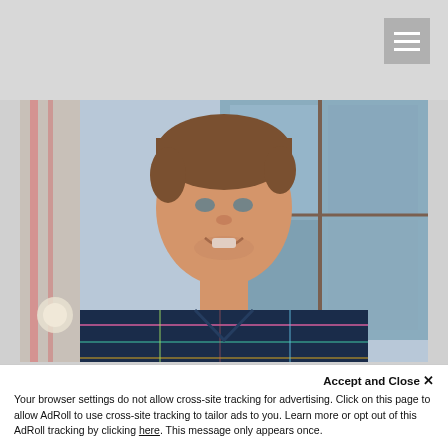[Figure (photo): Portrait photo of a smiling man with brown hair wearing a navy blue plaid shirt, standing in front of a building with large windows and a white/red pillar visible in the background.]
Accept and Close ✕
Your browser settings do not allow cross-site tracking for advertising. Click on this page to allow AdRoll to use cross-site tracking to tailor ads to you. Learn more or opt out of this AdRoll tracking by clicking here. This message only appears once.